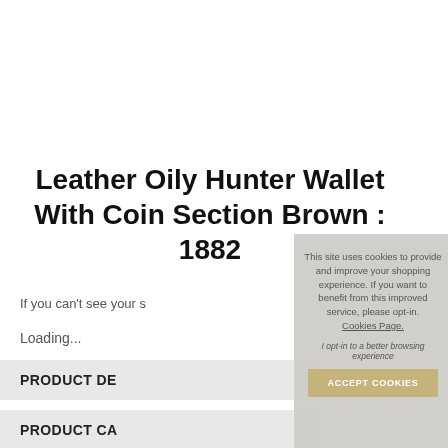Leather Oily Hunter Wallet With Coin Section Brown : 1882
If you can't see your s
Loading...
PRODUCT DE
PRODUCT CA
This site uses cookies to provide and improve your shopping experience. If you want to benefit from this improved service, please opt-in. Cookies Page. I opt-in to a better browsing experience ACCEPT COOKIES